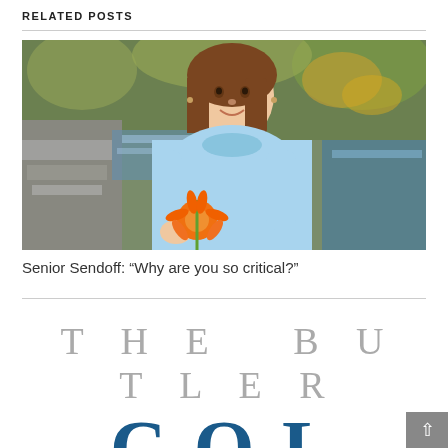RELATED POSTS
[Figure (photo): Young girl smiling, wearing a light blue top and holding an orange flower, photographed outdoors near a rocky stream with autumn foliage in the background.]
Senior Sendoff: “Why are you so critical?”
[Figure (logo): The Butler Collegian newspaper logo — 'THE BUTLER' in large spaced gray serif letters above a horizontal line, with large blue serif letters below partially visible.]